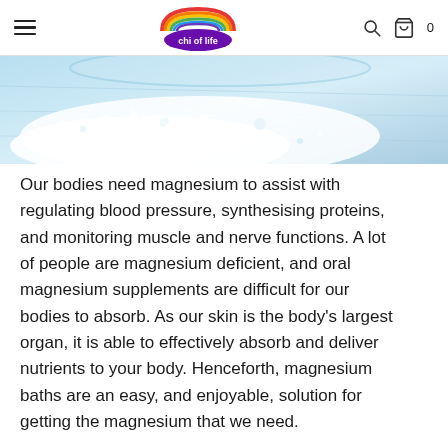chi of life
[Figure (photo): Close-up photo of white/blue mineral salt crystals and powder on a light blue background, partially cropped at bottom]
Our bodies need magnesium to assist with regulating blood pressure, synthesising proteins, and monitoring muscle and nerve functions. A lot of people are magnesium deficient, and oral magnesium supplements are difficult for our bodies to absorb. As our skin is the body’s largest organ, it is able to effectively absorb and deliver nutrients to your body. Henceforth, magnesium baths are an easy, and enjoyable, solution for getting the magnesium that we need.